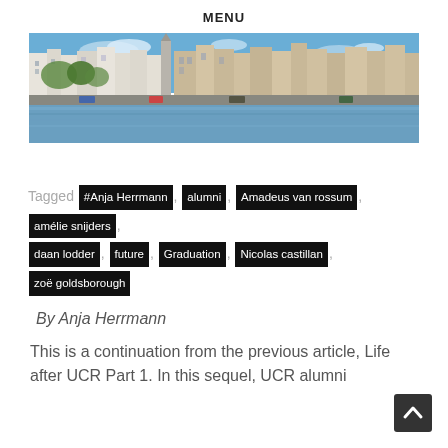MENU
[Figure (photo): Panoramic photo of a European city waterfront with historic buildings reflected in a river, under a blue sky.]
Tagged #Anja Herrmann, alumni, Amadeus van rossum, amélie snijders, daan lodder, future, Graduation, Nicolas castillan, zoë goldsborough
By Anja Herrmann
This is a continuation from the previous article, Life after UCR Part 1. In this sequel, UCR alumni